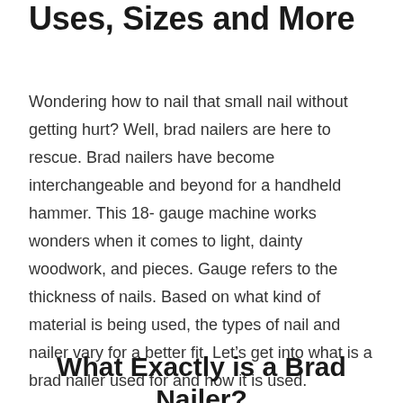Uses, Sizes and More
Wondering how to nail that small nail without getting hurt? Well, brad nailers are here to rescue. Brad nailers have become interchangeable and beyond for a handheld hammer. This 18- gauge machine works wonders when it comes to light, dainty woodwork, and pieces. Gauge refers to the thickness of nails. Based on what kind of material is being used, the types of nail and nailer vary for a better fit. Let’s get into what is a brad nailer used for and how it is used.
What Exactly is a Brad Nailer?